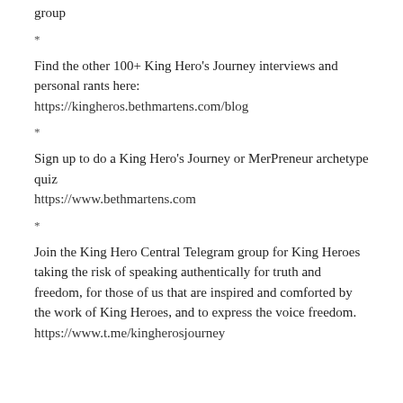group
*
Find the other 100+ King Hero's Journey interviews and personal rants here:
https://kingheros.bethmartens.com/blog
*
Sign up to do a King Hero's Journey or MerPreneur archetype quiz
https://www.bethmartens.com
*
Join the King Hero Central Telegram group for King Heroes taking the risk of speaking authentically for truth and freedom, for those of us that are inspired and comforted by the work of King Heroes, and to express the voice freedom.
https://www.t.me/kingherosjourney